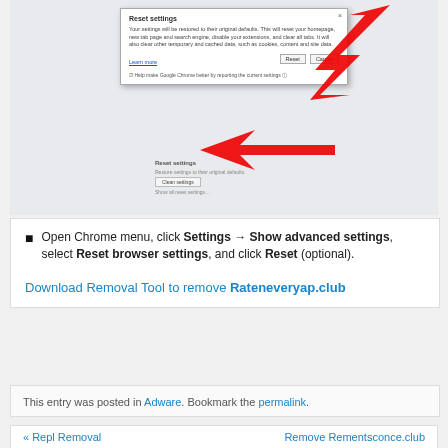[Figure (screenshot): Chrome browser 'Reset settings' dialog box with red arrows pointing to reset options. The dialog reads: 'Your settings will be restored to their original defaults. This will reset your homepage, new tab page and search engine, disable your extensions, and clear all tabs. It will also clear other temporary and cached data, such as cookies, content and site data.' A 'Learn more' link is shown, with Reset and Cancel buttons. Below the dialog, there is a 'Reset settings' section with a 'Clean settings' button highlighted by a red arrow.]
Open Chrome menu, click Settings → Show advanced settings, select Reset browser settings, and click Reset (optional).
Download Removal Tool to remove Rateneveryap.club
This entry was posted in Adware. Bookmark the permalink.
« Repl Removal    Remove Rementsconce.club